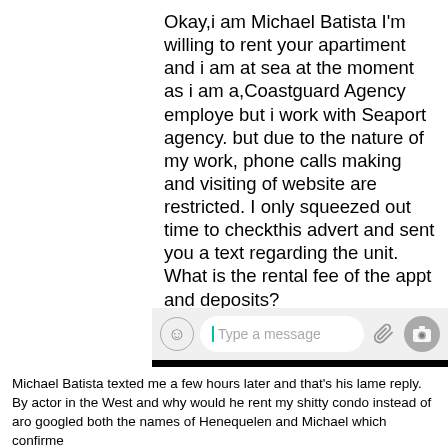[Figure (screenshot): WhatsApp chat screenshot showing a message from Michael Batista: 'Okay,i am Michael Batista I'm willing to rent your apartiment and i am at sea at the moment as i am a,Coastguard Agency employe but i work with Seaport agency. but due to the nature of my work, phone calls making and visiting of website are restricted. I only squeezed out time to checkthis advert and sent you a text regarding the unit. What is the rental fee of the appt and deposits?' sent at 13:43. Below the chat is the message input bar and Android navigation bar.]
Michael Batista texted me a few hours later and that's his lame reply. By actor in the West and why would he rent my shitty condo instead of aro googled both the names of Henequelen and Michael which confirme